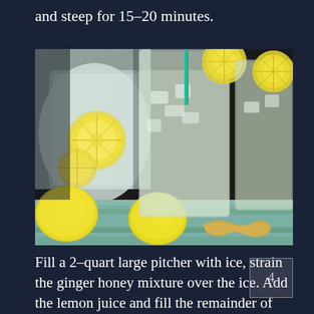and steep for 15–20 minutes.
[Figure (photo): A photograph showing glasses of lemonade with ice and lemon slices as garnish, along with whole lemons and ginger root on a colorful striped surface, with a large pitcher of lemonade in the background.]
Fill a 2-quart large pitcher with ice, strain the ginger honey mixture over the ice. Add the lemon juice and fill the remainder of the pitcher with it.